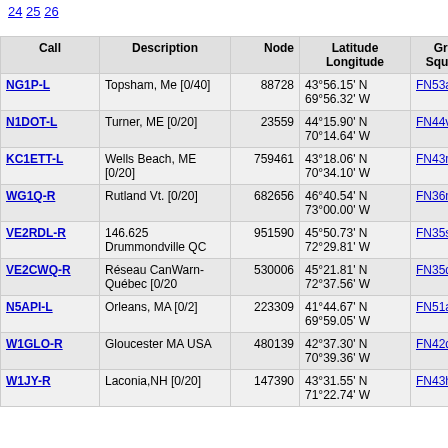24 25 26
| Call | Description | Node | Latitude Longitude | Grid Square | Dist (mi) | Freq (Mhz |
| --- | --- | --- | --- | --- | --- | --- |
| NG1P-L | Topsham, Me [0/40] | 88728 | 43°56.15' N 69°56.32' W | FN53aw | 2976.4 |  |
| N1DOT-L | Turner, ME [0/20] | 23559 | 44°15.90' N 70°14.64' W | FN44vg | 2979.5 |  |
| KC1ETT-L | Wells Beach, ME [0/20] | 759461 | 43°18.06' N 70°34.10' W | FN43rh | 3024.7 |  |
| WG1Q-R | Rutland Vt. [0/20] | 682656 | 46°40.54' N 73°00.00' W | FN36mg | 3024.8 |  |
| VE2RDL-R | 146.625 Drummondville QC | 951590 | 45°50.73' N 72°29.81' W | FN35su | 3028.5 | 146.6 |
| VE2CWQ-R | Réseau CanWarn-Québec [0/20 | 530006 | 45°21.81' N 72°37.56' W | FN35qi | 3049.1 | 443.0 |
| N5API-L | Orleans, MA [0/2] | 223309 | 41°44.67' N 69°59.05' W | FN51ar | 3050.4 | 145.6 |
| W1GLO-R | Gloucester MA USA | 480139 | 42°37.30' N 70°39.36' W | FN42qo | 3051.0 | 145.1 |
| W1JY-R | Laconia,NH [0/20] | 147390 | 43°31.55' N 71°22.74' W | FN43hm | 3053.3 |  |